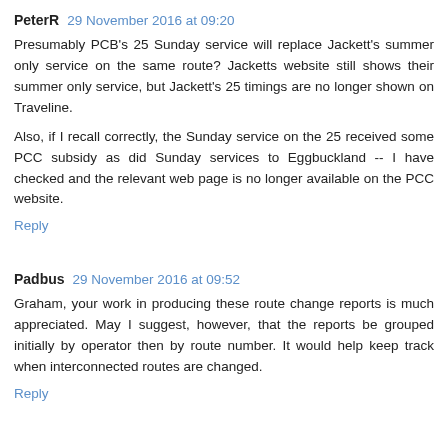PeterR  29 November 2016 at 09:20
Presumably PCB's 25 Sunday service will replace Jackett's summer only service on the same route? Jacketts website still shows their summer only service, but Jackett's 25 timings are no longer shown on Traveline.
Also, if I recall correctly, the Sunday service on the 25 received some PCC subsidy as did Sunday services to Eggbuckland -- I have checked and the relevant web page is no longer available on the PCC website.
Reply
Padbus  29 November 2016 at 09:52
Graham, your work in producing these route change reports is much appreciated. May I suggest, however, that the reports be grouped initially by operator then by route number. It would help keep track when interconnected routes are changed.
Reply